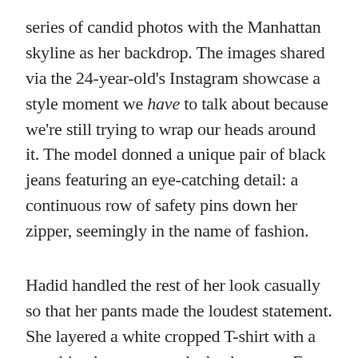series of candid photos with the Manhattan skyline as her backdrop. The images shared via the 24-year-old's Instagram showcase a style moment we have to talk about because we're still trying to wrap our heads around it. The model donned a unique pair of black jeans featuring an eye-catching detail: a continuous row of safety pins down her zipper, seemingly in the name of fashion.
Hadid handled the rest of her look casually so that her pants made the loudest statement. She layered a white cropped T-shirt with a matching button-up and a leather vest. For accessories, she rounded out the